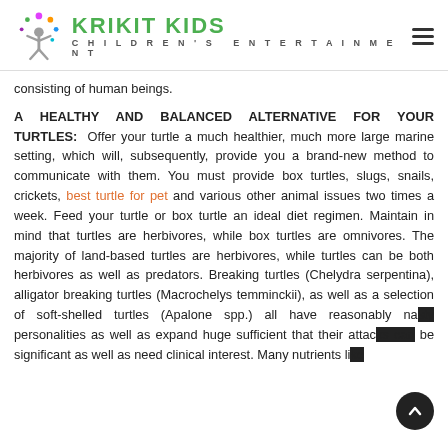KRIKIT KIDS CHILDREN'S ENTERTAINMENT
consisting of human beings.
A HEALTHY AND BALANCED ALTERNATIVE FOR YOUR TURTLES: Offer your turtle a much healthier, much more large marine setting, which will, subsequently, provide you a brand-new method to communicate with them. You must provide box turtles, slugs, snails, crickets, best turtle for pet and various other animal issues two times a week. Feed your turtle or box turtle an ideal diet regimen. Maintain in mind that turtles are herbivores, while box turtles are omnivores. The majority of land-based turtles are herbivores, while turtles can be both herbivores as well as predators. Breaking turtles (Chelydra serpentina), alligator breaking turtles (Macrochelys temminckii), as well as a selection of soft-shelled turtles (Apalone spp.) all have reasonably nasty personalities as well as expand huge sufficient that their attacks can be significant as well as need clinical interest. Many nutrients like